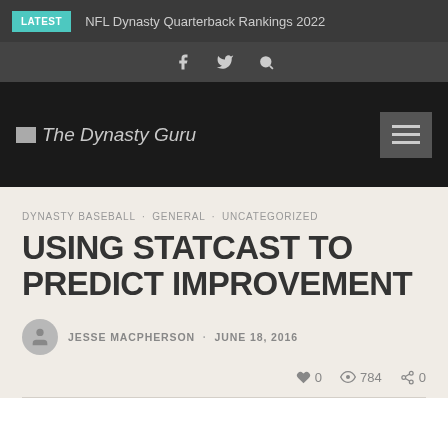LATEST  NFL Dynasty Quarterback Rankings 2022
f  twitter  search
[Figure (logo): The Dynasty Guru logo with small image placeholder and italic text on dark background]
DYNASTY BASEBALL · GENERAL · UNCATEGORIZED
USING STATCAST TO PREDICT IMPROVEMENT
JESSE MACPHERSON · JUNE 18, 2016
0  784  0